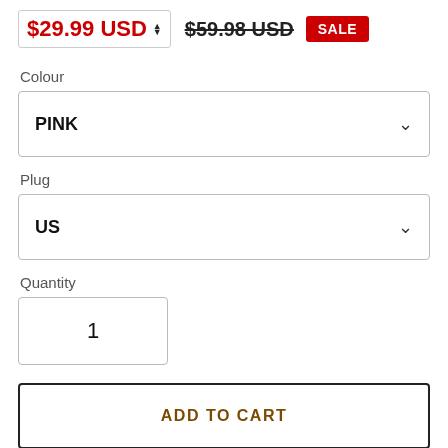$29.99 USD  $59.98 USD  SALE
Colour
PINK
Plug
US
Quantity
1
ADD TO CART
BUY IT NOW
[Figure (logo): PayPal logo on gold/yellow button, partially visible]